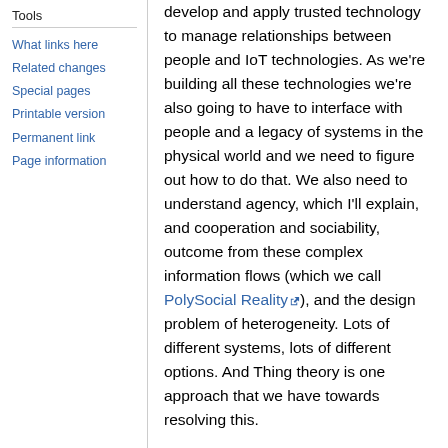Tools
What links here
Related changes
Special pages
Printable version
Permanent link
Page information
develop and apply trusted technology to manage relationships between people and IoT technologies. As we're building all these technologies we're also going to have to interface with people and a legacy of systems in the physical world and we need to figure out how to do that. We also need to understand agency, which I'll explain, and cooperation and sociability, outcome from these complex information flows (which we call PolySocial Reality), and the design problem of heterogeneity. Lots of different systems, lots of different options. And Thing theory is one approach that we have towards resolving this.
Heterogeneous is just an idea that things are mixed up. That there are dissimilar o...